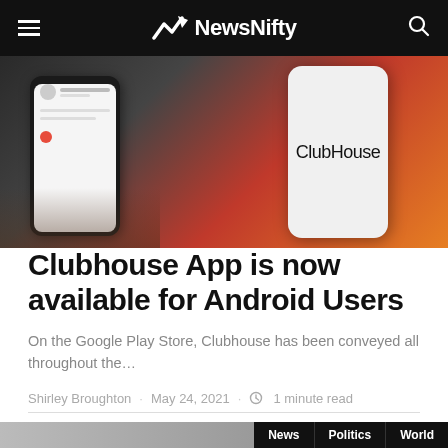NewsNifty
[Figure (photo): Two smartphones showing the Clubhouse app — one held in a hand showing app interface, another showing 'ClubHouse' text on screen, with orange/red background]
Clubhouse App is now available for Android Users
On the Google Play Store, Clubhouse has been conveyed all throughout the…
Shirley Broughton · May 24, 2021 · 1 minute read
[Figure (photo): Bottom portion of article with a photo and category tags: News, Politics, World]